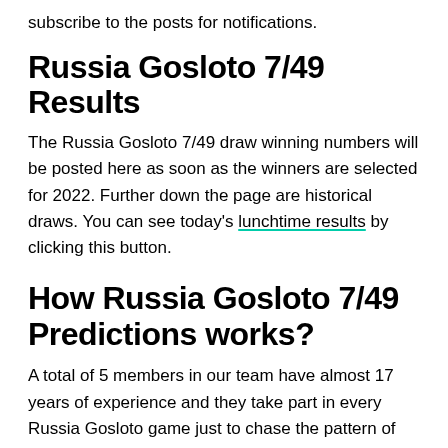subscribe to the posts for notifications.
Russia Gosloto 7/49 Results
The Russia Gosloto 7/49 draw winning numbers will be posted here as soon as the winners are selected for 2022. Further down the page are historical draws. You can see today's lunchtime results by clicking this button.
How Russia Gosloto 7/49 Predictions works?
A total of 5 members in our team have almost 17 years of experience and they take part in every Russia Gosloto game just to chase the pattern of numbers. Predictions are made by each member. This pattern is then used to draw the numbers. Use these numbers on their own if they are not confirmed.